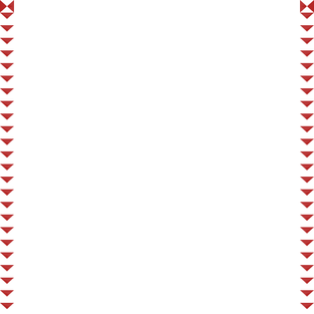[Figure (photo): Hands stretching a pink ribbed fabric piece on a round wooden board, placed on a red plaid cloth background. Watermark 'LOVELYTUTORIALS.COM' visible diagonally across the image.]
[Figure (photo): Close-up of clear/transparent stretched thin fabric or material on a wooden surface, showing texture and stretch. Watermark 'LOVELYTUTORIALS.COM' visible.]